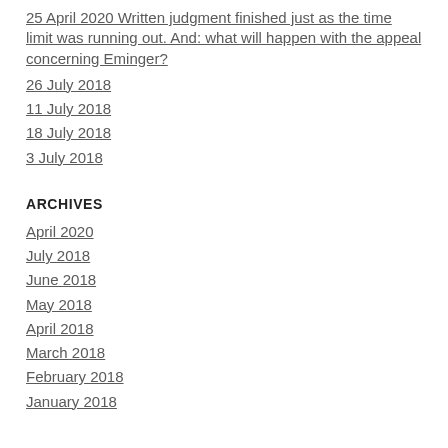25 April 2020 Written judgment finished just as the time limit was running out. And: what will happen with the appeal concerning Eminger?
26 July 2018
11 July 2018
18 July 2018
3 July 2018
ARCHIVES
April 2020
July 2018
June 2018
May 2018
April 2018
March 2018
February 2018
January 2018